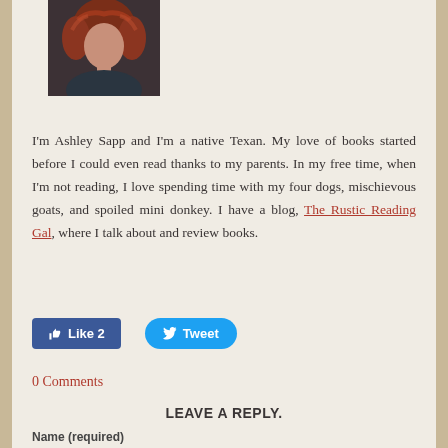[Figure (photo): Profile photo of a woman with curly auburn/red hair, wearing a dark top, cropped at shoulders]
I'm Ashley Sapp and I'm a native Texan. My love of books started before I could even read thanks to my parents. In my free time, when I'm not reading, I love spending time with my four dogs, mischievous goats, and spoiled mini donkey. I have a blog, The Rustic Reading Gal, where I talk about and review books.
Like 2  Tweet
0 Comments
LEAVE A REPLY.
Name (required)